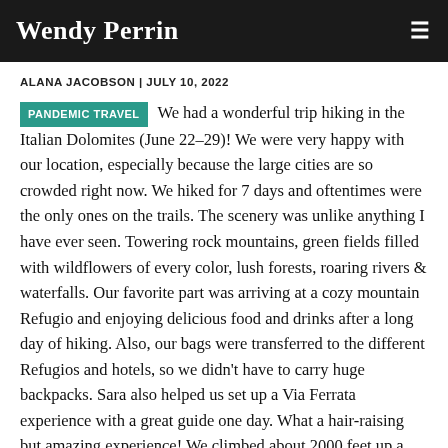Wendy Perrin
ALANA JACOBSON | JULY 10, 2022
PANDEMIC TRAVEL  We had a wonderful trip hiking in the Italian Dolomites (June 22-29)! We were very happy with our location, especially because the large cities are so crowded right now. We hiked for 7 days and oftentimes were the only ones on the trails. The scenery was unlike anything I have ever seen. Towering rock mountains, green fields filled with wildflowers of every color, lush forests, roaring rivers & waterfalls. Our favorite part was arriving at a cozy mountain Refugio and enjoying delicious food and drinks after a long day of hiking. Also, our bags were transferred to the different Refugios and hotels, so we didn't have to carry huge backpacks. Sara also helped us set up a Via Ferrata experience with a great guide one day. What a hair-raising but amazing experience! We climbed about 2000 feet up a sheer rock face, clipped onto a metal cable with harness & helmet. I was very happy to have a knowledgeable guide! He made it all seem easy, even crossing a narrow suspension bridge thousands of feet above the ground!